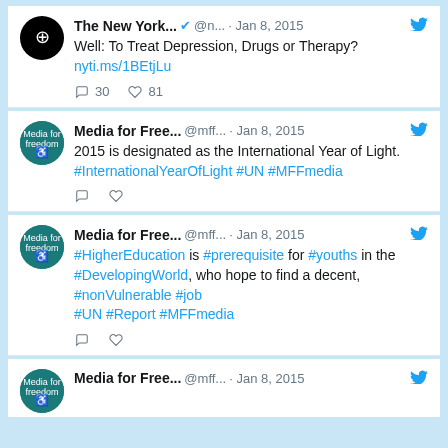[Figure (screenshot): Screenshot of Twitter/social media feed showing three tweets from Jan 8, 2015]
The New York... @n... · Jan 8, 2015 Well: To Treat Depression, Drugs or Therapy? nyti.ms/1BEtjLu | 30 replies 81 likes
Media for Free... @mff... · Jan 8, 2015 2015 is designated as the International Year of Light. #InternationalYearOfLight #UN #MFFmedia
Media for Free... @mff... · Jan 8, 2015 #HigherEducation is #prerequisite for #youths in the #DevelopingWorld, who hope to find a decent, #nonVulnerable #job #UN #Report #MFFmedia
Media for Free... @mff... · Jan 8, 2015